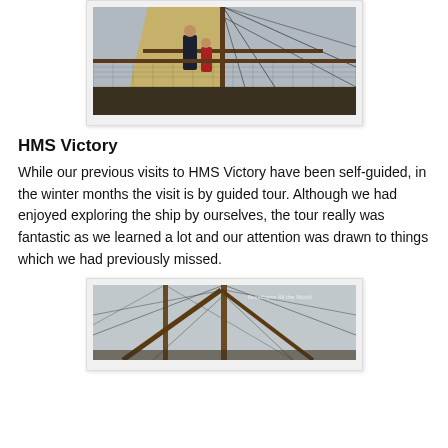[Figure (photo): Two people standing on the deck of a tall sailing ship (HMS Victory), with masts, rigging, and netting visible in the background.]
HMS Victory
While our previous visits to HMS Victory have been self-guided, in the winter months the visit is by guided tour. Although we had enjoyed exploring the ship by ourselves, the tour really was fantastic as we learned a lot and our attention was drawn to things which we had previously missed.
[Figure (photo): View looking up at the masts and rigging of HMS Victory against a grey overcast sky, with a watermark reading 'Breathless All the World'.]